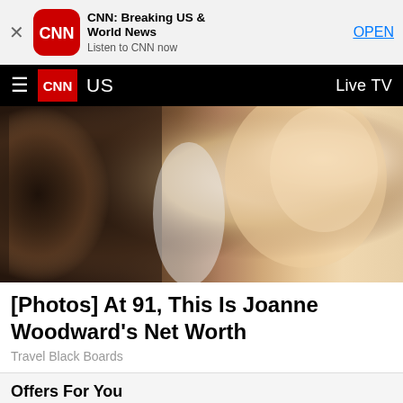[Figure (screenshot): App store banner for CNN: Breaking US & World News app with red CNN logo icon, app name, tagline 'Listen to CNN now', and OPEN button]
[Figure (screenshot): CNN navigation bar with hamburger menu, red CNN logo, 'US' section label, and 'Live TV' link on black background]
[Figure (photo): Close-up photo of a couple, man in tweed jacket on left, woman with blonde hair on right looking toward camera]
[Photos] At 91, This Is Joanne Woodward's Net Worth
Travel Black Boards
Offers For You
[Figure (photo): Bottom strip of an image, partially visible, warm golden tones]